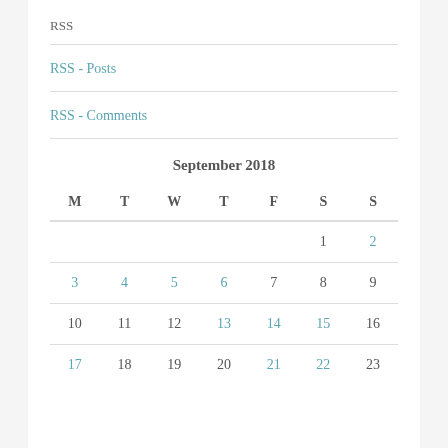RSS
RSS - Posts
RSS - Comments
| M | T | W | T | F | S | S |
| --- | --- | --- | --- | --- | --- | --- |
|  |  |  |  |  | 1 | 2 |
| 3 | 4 | 5 | 6 | 7 | 8 | 9 |
| 10 | 11 | 12 | 13 | 14 | 15 | 16 |
| 17 | 18 | 19 | 20 | 21 | 22 | 23 |